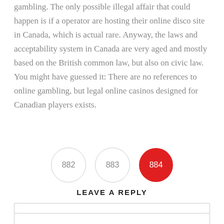gambling. The only possible illegal affair that could happen is if a operator are hosting their online disco site in Canada, which is actual rare. Anyway, the laws and acceptability system in Canada are very aged and mostly based on the British common law, but also on civic law. You might have guessed it: There are no references to online gambling, but legal online casinos designed for Canadian players exists.
[Figure (other): Pagination buttons showing pages 882, 883, and 884 (active, red circle)]
LEAVE A REPLY
Name *
E-Mail *